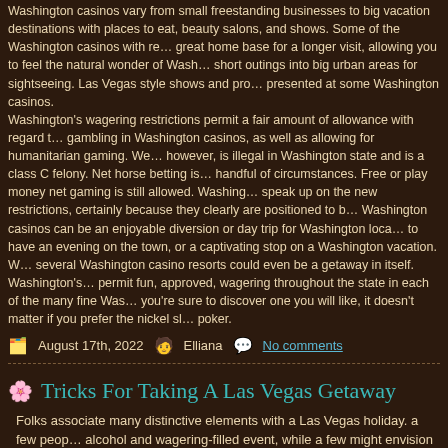Washington casinos vary from small freestanding businesses to big vacation destinations with places to eat, beauty salons, and shows. Some of the Washington casinos with re... great home base for a longer visit, allowing you to feel the natural wonder of Wash... short outings into big urban areas for sightseeing. Las Vegas style shows and pro... presented at some Washington casinos. Washington's wagering restrictions permit a fair amount of allowance with regard t... gambling in Washington casinos, as well as allowing for humanitarian gaming. We... however, is illegal in Washington state and is a class C felony. Net horse betting is... handful of circumstances. Free or play money net gaming is still allowed. Washing... speak up on the new restrictions, certainly because they clearly are positioned to b... Washington casinos can be an enjoyable diversion or day trip for Washington loca... to have an evening on the town, or a captivating stop on a Washington vacation. W... several Washington casino resorts could even be a getaway in itself. Washington's... permit fun, approved, wagering throughout the state in each of the many fine Was... you're sure to discover one you will like, it doesn't matter if you prefer the nickel sl... poker.
August 17th, 2022   Elliana   No comments
Tricks For Taking A Las Vegas Getaway
Folks associate many distinctive elements with a Las Vegas holiday. a few peop... alcohol and wagering-filled event, while a few might envision a relaxing getaway a... with the children when they dream about a vacation to Las Vegas. In the last half c...